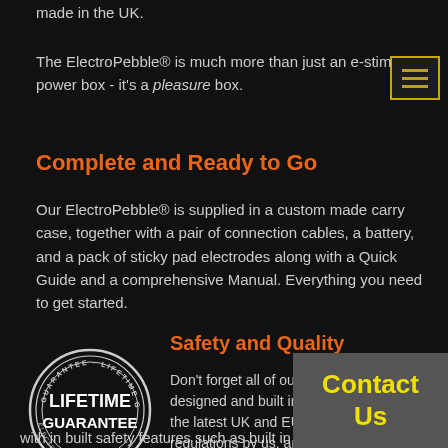made in the UK.
The ElectroPebble® is much more than just an e-stim power box - it's a pleasure box.
Complete and Ready to Go
Our ElectroPebble® is supplied in a custom made carry case, together with a pair of connection cables, a battery, and a pack of sticky pad electrodes along with a Quick Guide and a comprehensive Manual. Everything you need to get started.
Safety and Quality
[Figure (logo): Circular stamp logo reading LIFETIME GUARANTEE with bold text in center]
Don't forget all of our control units are designed and built in the latest UK and EU safety regulations by us, and do
with in built safety features such as built in current